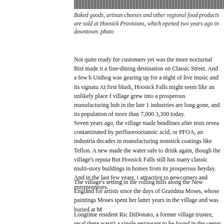[Figure (photo): Partial view of a stone or brick building facade, grayscale photo strip at top of page]
Baked goods, artisan cheeses and other regional food products are sold at Hoosick Provisions, which opened two years ago in downtown. photo
Not quite ready for customers yet was the more nocturnal Bist made it a fine-dining destination on Classic Street. And a few blocks away, Unihog was gearing up for a night of live music and its signature barbecue. At first blush, Hoosick Falls might seem like an unlikely place for a revival. The village grew into a prosperous manufacturing hub in the late 19th century. Those industries are long gone, and its population of more than 7,000 has dwindled to 3,300 today.
Seven years ago, the village made headlines after tests revealed its water was contaminated by perfluorooctanoic acid, or PFOA, an industrial chemical used for decades in manufacturing nonstick coatings like Teflon. A new filtration system made the water safe to drink again, though the village's reputation suffered. But Hoosick Falls still has many classic multi-story buildings in its center, and homes from its prosperous heyday. And in the last few years, it has become attractive to newcomers and entrepreneurs.
The village's setting in the rolling hills along the New England border has drawn artists since the days of Grandma Moses, whose paintings of rural life Moses spent her latter years in the village and was buried at M
Longtime resident Ric DiDonato, a former village trustee, recalled that there wasn't a single restaurant to be found in the center of do